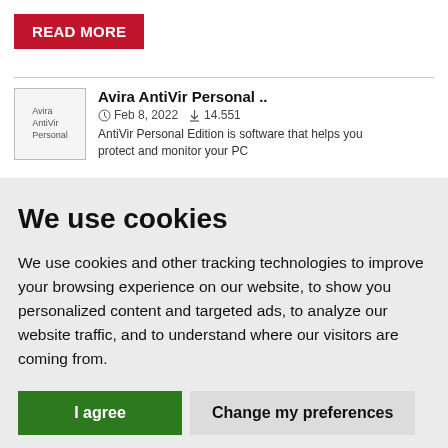[Figure (other): Red READ MORE button]
[Figure (other): Avira AntiVir Personal thumbnail image placeholder]
Avira AntiVir Personal ..
Feb 8, 2022  14.551
AntiVir Personal Edition is software that helps you protect and monitor your PC
We use cookies
We use cookies and other tracking technologies to improve your browsing experience on our website, to show you personalized content and targeted ads, to analyze our website traffic, and to understand where our visitors are coming from.
I agree   Change my preferences